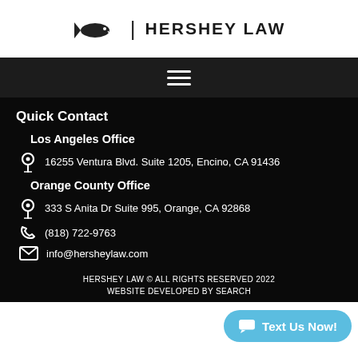HERSHEY LAW
[Figure (logo): Hershey Law logo with shark icon and text HERSHEY LAW]
[Figure (other): Dark navigation bar with hamburger menu icon]
Quick Contact
Los Angeles Office
16255 Ventura Blvd. Suite 1205, Encino, CA 91436
Orange County Office
333 S Anita Dr Suite 995, Orange, CA 92868
(818) 722-9763
info@hersheylaw.com
HERSHEY LAW © ALL RIGHTS RESERVED 2022
WEBSITE DEVELOPED BY SEARCH